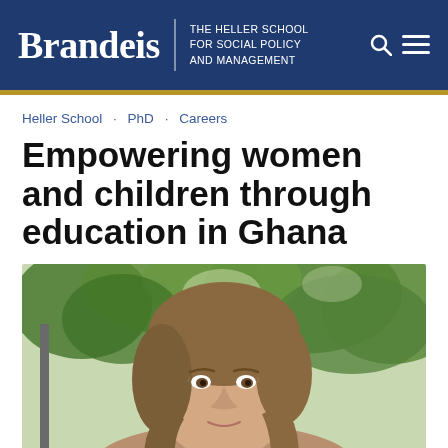Brandeis | THE HELLER SCHOOL FOR SOCIAL POLICY AND MANAGEMENT
Heller School · PhD · Careers
Empowering women and children through education in Ghana
[Figure (photo): Close-up photo of a woman with medium-length brown hair outdoors with green trees in the background]